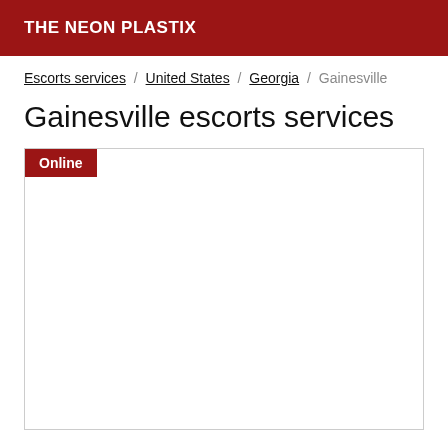THE NEON PLASTIX
Escorts services / United States / Georgia / Gainesville
Gainesville escorts services
[Figure (other): Listing card with Online badge and empty white content area]